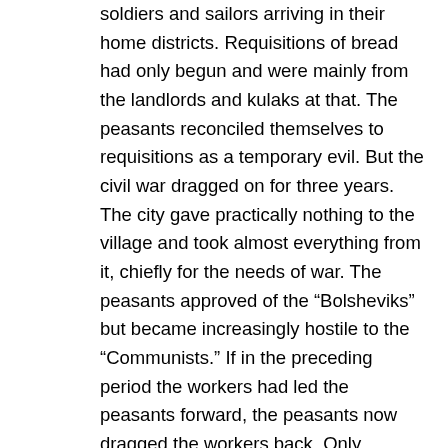soldiers and sailors arriving in their home districts. Requisitions of bread had only begun and were mainly from the landlords and kulaks at that. The peasants reconciled themselves to requisitions as a temporary evil. But the civil war dragged on for three years. The city gave practically nothing to the village and took almost everything from it, chiefly for the needs of war. The peasants approved of the “Bolsheviks” but became increasingly hostile to the “Communists.” If in the preceding period the workers had led the peasants forward, the peasants now dragged the workers back. Only because of this change in mood could the Whites partially attract the peasants, and even the half-peasants-half-workers, of the Urals to their side. This mood, i.e., hostility to the city